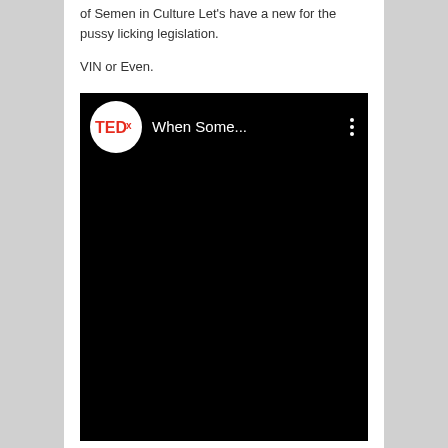of Semen in Culture Let's have a new for the pussy licking legislation.
VIN or Even.
[Figure (screenshot): A TEDx YouTube video thumbnail showing the TEDx logo circle on a black background with text 'When Some...' and a vertical three-dot menu icon]